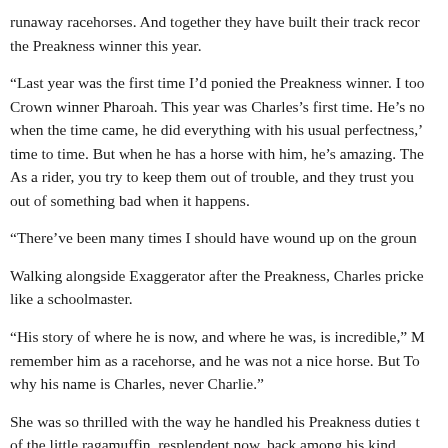runaway racehorses. And together they have built their track recor the Preakness winner this year.
“Last year was the first time I’d ponied the Preakness winner. I too Crown winner Pharoah. This year was Charles’s first time. He’s no when the time came, he did everything with his usual perfectness, time to time. But when he has a horse with him, he’s amazing. The As a rider, you try to keep them out of trouble, and they trust you out of something bad when it happens.
“There’ve been many times I should have wound up on the groun
Walking alongside Exaggerator after the Preakness, Charles pricke like a schoolmaster.
“His story of where he is now, and where he was, is incredible,” M remember him as a racehorse, and he was not a nice horse. But To why his name is Charles, never Charlie.”
She was so thrilled with the way he handled his Preakness duties t of the little ragamuffin, resplendent now, back among his kind.